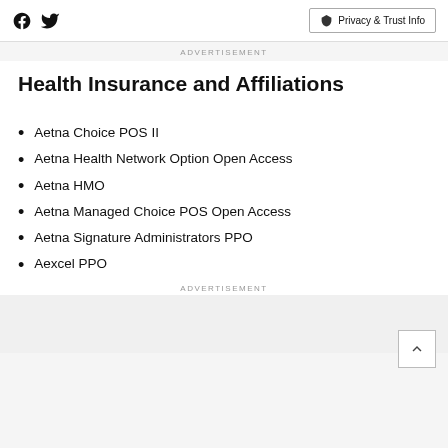Facebook Twitter | Privacy & Trust Info
ADVERTISEMENT
Health Insurance and Affiliations
Aetna Choice POS II
Aetna Health Network Option Open Access
Aetna HMO
Aetna Managed Choice POS Open Access
Aetna Signature Administrators PPO
Aexcel PPO
ADVERTISEMENT